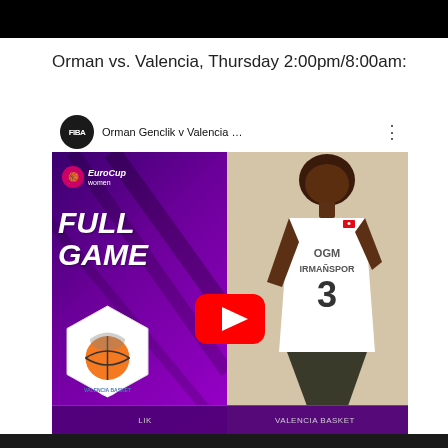[Figure (screenshot): Black top bar / browser chrome area at top of page]
Orman vs. Valencia, Thursday 2:00pm/8:00am:
[Figure (screenshot): YouTube video thumbnail for FIBA EuroCup Women Full Game: Orman Genclik v Valencia Basket, showing purple left side with EuroCup Women Full Game text and Valencia Basket hexagon logo, right side showing a basketball player wearing OGM Ormanspor jersey number 3, with YouTube play button overlay and FIBA channel name in top bar]